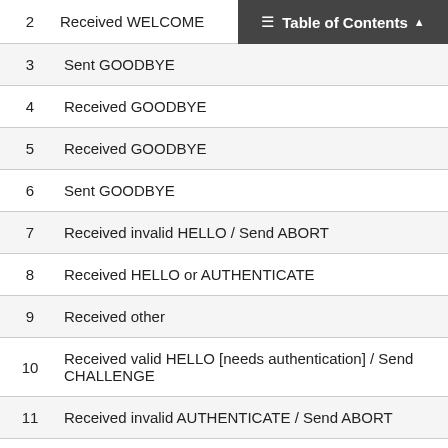2   Received WELCOME | Table of Contents
| # | Description |
| --- | --- |
| 3 | Sent GOODBYE |
| 4 | Received GOODBYE |
| 5 | Received GOODBYE |
| 6 | Sent GOODBYE |
| 7 | Received invalid HELLO / Send ABORT |
| 8 | Received HELLO or AUTHENTICATE |
| 9 | Received other |
| 10 | Received valid HELLO [needs authentication] / Send CHALLENGE |
| 11 | Received invalid AUTHENTICATE / Send ABORT |
| 12 | Received valid AUTHENTICATE / Send WELCOME |
| 13 | Received other |